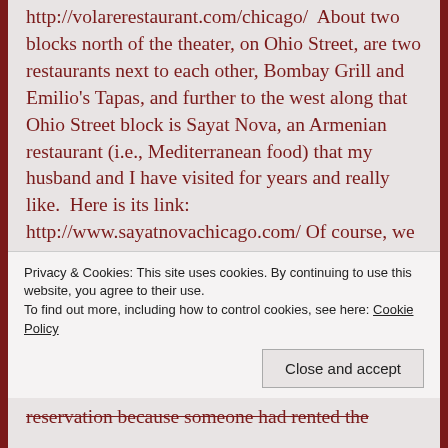http://volarerestaurant.com/chicago/  About two blocks north of the theater, on Ohio Street, are two restaurants next to each other, Bombay Grill and Emilio's Tapas, and further to the west along that Ohio Street block is Sayat Nova, an Armenian restaurant (i.e., Mediterranean food) that my husband and I have visited for years and really like.  Here is its link:  http://www.sayatnovachicago.com/  Of course, we may not be choosing places to eat by how near they are.  If we want to choose landmark places, there are at least two
Privacy & Cookies: This site uses cookies. By continuing to use this website, you agree to their use.
To find out more, including how to control cookies, see here: Cookie Policy
Close and accept
reservation because someone had rented the